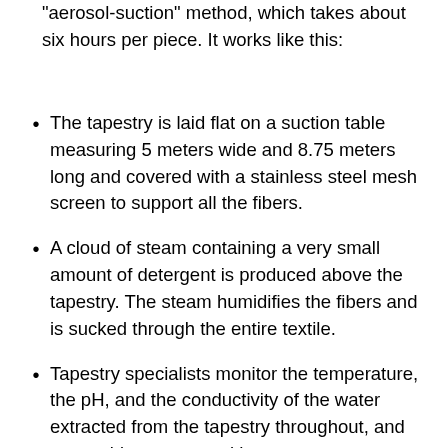“aerosol-suction” method, which takes about six hours per piece. It works like this:
The tapestry is laid flat on a suction table measuring 5 meters wide and 8.75 meters long and covered with a stainless steel mesh screen to support all the fibers.
A cloud of steam containing a very small amount of detergent is produced above the tapestry. The steam humidifies the fibers and is sucked through the entire textile.
Tapestry specialists monitor the temperature, the pH, and the conductivity of the water extracted from the tapestry throughout, and use a video camera with macro zoom to get a very close view of the evolution